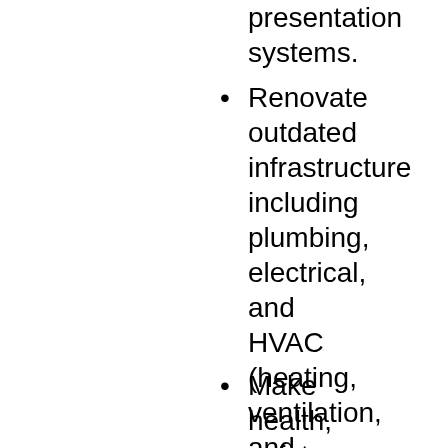presentation systems.
Renovate outdated infrastructure including plumbing, electrical, and HVAC (heating, ventilation, and air conditioning) systems.
Make health, safety, and